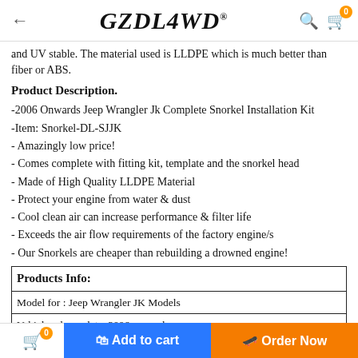← GZDL4WD® 🔍 🛒0
and UV stable. The material used is LLDPE which is much better than fiber or ABS.
Product Description.
-2006 Onwards Jeep Wrangler Jk Complete Snorkel Installation Kit
-Item: Snorkel-DL-SJJK
- Amazingly low price!
- Comes complete with fitting kit, template and the snorkel head
- Made of High Quality LLDPE Material
- Protect your engine from water & dust
- Cool clean air can increase performance & filter life
- Exceeds the air flow requirements of the factory engine/s
- Our Snorkels are cheaper than rebuilding a drowned engine!
| Products Info: |
| --- |
| Model for : Jeep Wrangler JK Models |
| Vehicle release date: 2006 onwards |
| Engine capacity:( 3.6Litre-V6 Petrol,2.8Litre-I4 Diesel) |
| Material: Best Quality LLDPE |
| Snorkel: 1pcs in 1 carton. It is including bag of bolt and nut, brackets, te |
🛒0   🛒 Add to cart   🛒 Order Now